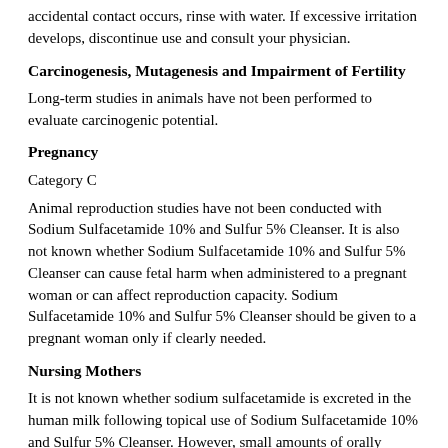accidental contact occurs, rinse with water. If excessive irritation develops, discontinue use and consult your physician.
Carcinogenesis, Mutagenesis and Impairment of Fertility
Long-term studies in animals have not been performed to evaluate carcinogenic potential.
Pregnancy
Category C
Animal reproduction studies have not been conducted with Sodium Sulfacetamide 10% and Sulfur 5% Cleanser. It is also not known whether Sodium Sulfacetamide 10% and Sulfur 5% Cleanser can cause fetal harm when administered to a pregnant woman or can affect reproduction capacity. Sodium Sulfacetamide 10% and Sulfur 5% Cleanser should be given to a pregnant woman only if clearly needed.
Nursing Mothers
It is not known whether sodium sulfacetamide is excreted in the human milk following topical use of Sodium Sulfacetamide 10% and Sulfur 5% Cleanser. However, small amounts of orally administered sulfonamides have been reported to be eliminated in human milk. In view of this and because many drugs are